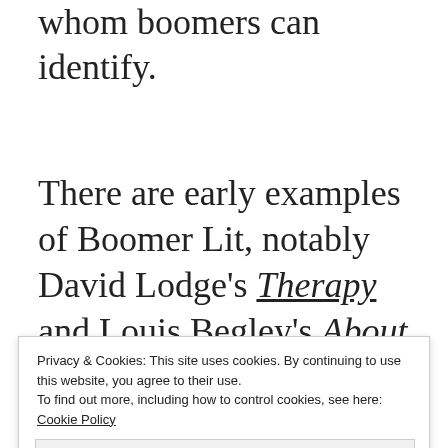whom boomers can identify.
There are early examples of Boomer Lit, notably David Lodge's Therapy and Louis Begley's About Schmidt series. The latter inspired
Privacy & Cookies: This site uses cookies. By continuing to use this website, you agree to their use. To find out more, including how to control cookies, see here: Cookie Policy
Close and accept
Nicholson. This was followed by a